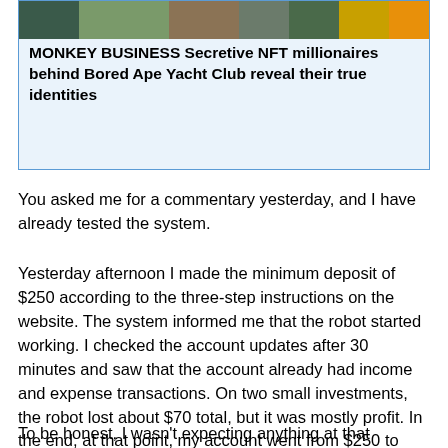[Figure (screenshot): News article card with image showing people in military/costume attire with headline about Bored Ape Yacht Club NFT founders]
MONKEY BUSINESS Secretive NFT millionaires behind Bored Ape Yacht Club reveal their true identities
You asked me for a commentary yesterday, and I have already tested the system.
Yesterday afternoon I made the minimum deposit of $250 according to the three-step instructions on the website. The system informed me that the robot started working. I checked the account updates after 30 minutes and saw that the account already had income and expense transactions. On two small investments, the robot lost about $70 total, but it was mostly profit. In the end, at that point, my account went from $250 to $315.
To be honest, I wasn't expecting anything at that moment. When I checked the account in the evening, it